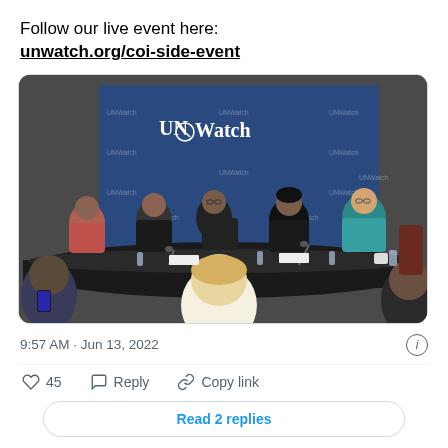Follow our live event here: unwatch.org/coi-side-event
[Figure (photo): Panel discussion at a UN Watch event. Five panelists seated at a curved table in front of a blue UN Watch branded backdrop. Audience members visible in the foreground.]
9:57 AM · Jun 13, 2022
45  Reply  Copy link
Read 2 replies